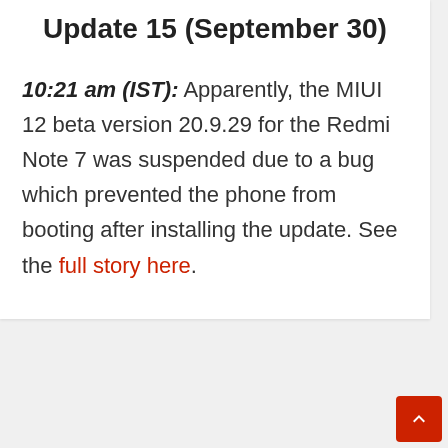Update 15 (September 30)
10:21 am (IST): Apparently, the MIUI 12 beta version 20.9.29 for the Redmi Note 7 was suspended due to a bug which prevented the phone from booting after installing the update. See the full story here.